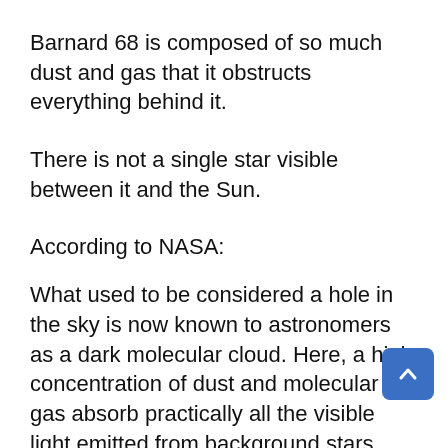Barnard 68 is composed of so much dust and gas that it obstructs everything behind it.
There is not a single star visible between it and the Sun.
According to NASA:
What used to be considered a hole in the sky is now known to astronomers as a dark molecular cloud. Here, a high concentration of dust and molecular gas absorb practically all the visible light emitted from background stars. The eerily dark surroundings help make the interiors of molecular clouds some of the coldest and most isolated places in the universe. of the most notable of these dark absorption nebulae